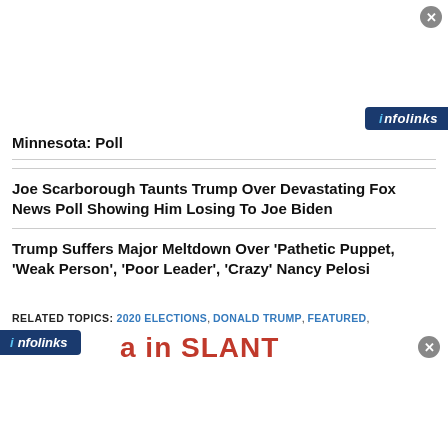[Figure (screenshot): Top ad area with infolinks branding bar and close button]
Minnesota: Poll
Joe Scarborough Taunts Trump Over Devastating Fox News Poll Showing Him Losing To Joe Biden
Trump Suffers Major Meltdown Over 'Pathetic Puppet, 'Weak Person', 'Poor Leader', 'Crazy' Nancy Pelosi
RELATED TOPICS: 2020 ELECTIONS, DONALD TRUMP, FEATURED, REPUBLICANS
[Figure (screenshot): Bottom infolinks ad bar with partial SLANT text in red and close button]